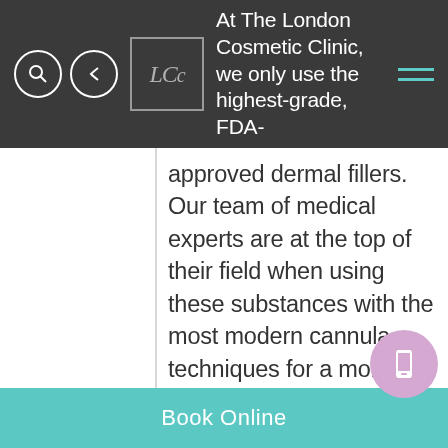At The London Cosmetic Clinic, we only use the highest-grade, FDA-approved dermal fillers.
[Figure (logo): LCC London Cosmetic Clinic logo in a square border]
approved dermal fillers. Our team of medical experts are at the top of their field when using these substances with the most modern cannula techniques for a more comfortable and effective treatment.

Before any dermal filler treatment can take place, here at The London Cosmetic Clinic
Book Online